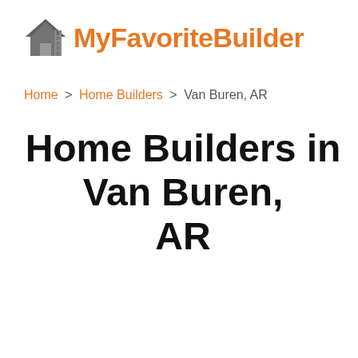[Figure (logo): MyFavoriteBuilder logo with house icon and ladder, text in orange bold font]
Home > Home Builders > Van Buren, AR
Home Builders in Van Buren, AR